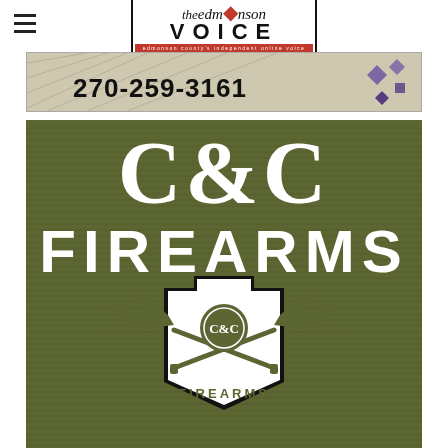[Figure (logo): The Edmonson Voice newspaper logo — stylized text 'the edm[red droplet]nson' over boxed 'VOICE' in bold with red tagline bar]
[Figure (photo): Top advertisement banner showing phone number 270-259-3161 on a tan/cream background with decorative diamond shapes on the right]
[Figure (logo): C&C Firearms advertisement on olive green corrugated metal background. Large white stencil-style 'C&C' text at top, large white bold 'FIREARMS' text below, with a shield/badge logo featuring eagle wings, crossed rifles, and 'C&C FIREARMS' text in center]